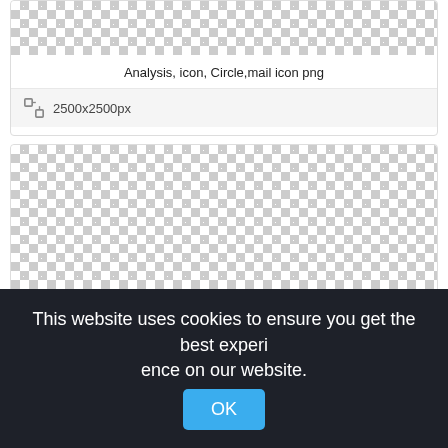[Figure (screenshot): Checkered transparency background (top card, cropped at top)]
Analysis, icon, Circle,mail icon png
2500x2500px
[Figure (screenshot): Checkered transparency background (second card, large preview area)]
This website uses cookies to ensure you get the best experience on our website.
OK